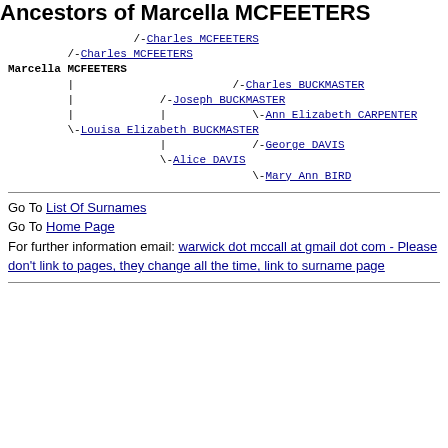Ancestors of Marcella MCFEETERS
[Figure (other): Genealogical ancestor tree for Marcella MCFEETERS showing ancestors: Charles MCFEETERS (father), Charles MCFEETERS (grandfather), Louisa Elizabeth BUCKMASTER (mother), Joseph BUCKMASTER (maternal grandfather), Charles BUCKMASTER, Ann Elizabeth CARPENTER, Alice DAVIS, George DAVIS, Mary Ann BIRD]
Go To List Of Surnames
Go To Home Page
For further information email: warwick dot mccall at gmail dot com - Please don't link to pages, they change all the time, link to surname page